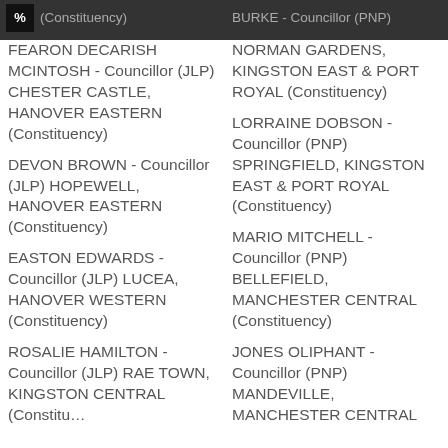(Constituency) [partial, truncated top]
BURKE - Councillor (PNP) [partial, truncated top right]
FEARON DECARISH MCINTOSH - Councillor (JLP) CHESTER CASTLE, HANOVER EASTERN (Constituency)
DEVON BROWN - Councillor (JLP) HOPEWELL, HANOVER EASTERN (Constituency)
EASTON EDWARDS - Councillor (JLP) LUCEA, HANOVER WESTERN (Constituency)
ROSALIE HAMILTON - Councillor (JLP) RAE TOWN, KINGSTON CENTRAL (Constituency) [truncated]
NORMAN GARDENS, KINGSTON EAST & PORT ROYAL (Constituency)
LORRAINE DOBSON - Councillor (PNP) SPRINGFIELD, KINGSTON EAST & PORT ROYAL (Constituency)
MARIO MITCHELL - Councillor (PNP) BELLEFIELD, MANCHESTER CENTRAL (Constituency)
JONES OLIPHANT - Councillor (PNP) MANDEVILLE, MANCHESTER CENTRAL [truncated]